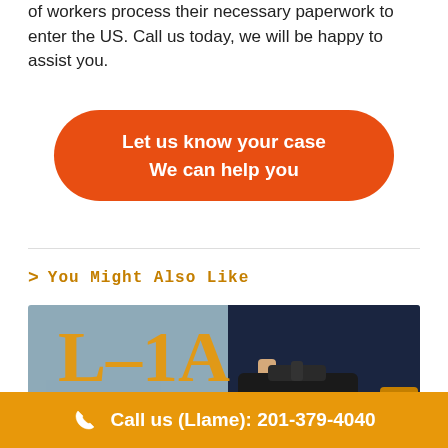of workers process their necessary paperwork to enter the US. Call us today, we will be happy to assist you.
Let us know your case
We can help you
> You Might Also Like
[Figure (photo): Person in a suit holding a briefcase next to text reading 'L-1A Visa' in orange letters on a gray background]
Call us (Llame): 201-379-4040